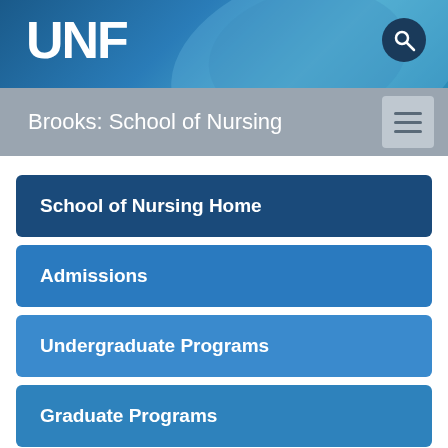UNF
Brooks: School of Nursing
School of Nursing Home
Admissions
Undergraduate Programs
Graduate Programs
Frequently Asked Questions
Contact Us